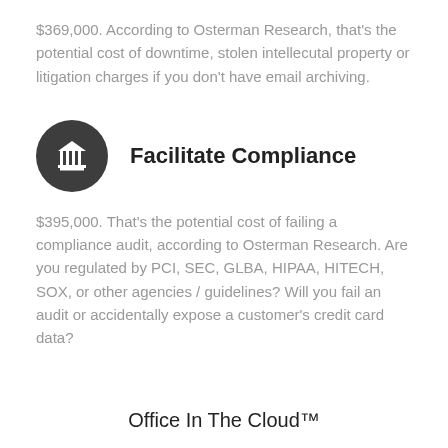$369,000. According to Osterman Research, that's the potential cost of downtime, stolen intellecutal property or litigation charges if you don't have email archiving.
[Figure (illustration): Dark circular icon with a white building/institution symbol (columns, pediment) representing compliance or government]
Facilitate Compliance
$395,000. That's the potential cost of failing a compliance audit, according to Osterman Research. Are you regulated by PCI, SEC, GLBA, HIPAA, HITECH, SOX, or other agencies / guidelines? Will you fail an audit or accidentally expose a customer's credit card data?
Office In The Cloud™